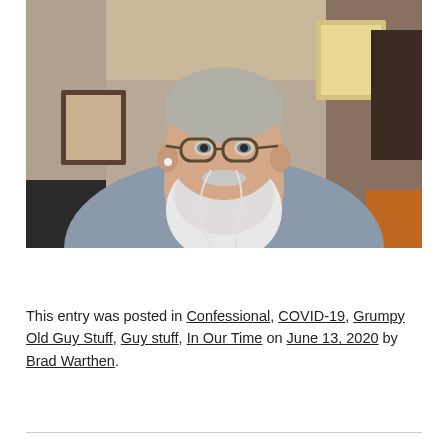[Figure (photo): Selfie photo of an older man with gray hair and a full white beard, wearing glasses and a gray shirt with white earbuds, taken indoors with home interior visible in background.]
This entry was posted in Confessional, COVID-19, Grumpy Old Guy Stuff, Guy stuff, In Our Time on June 13, 2020 by Brad Warthen.